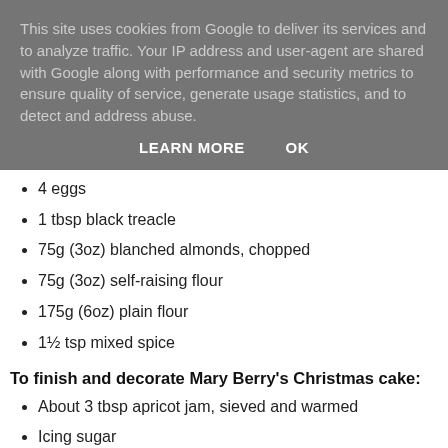This site uses cookies from Google to deliver its services and to analyze traffic. Your IP address and user-agent are shared with Google along with performance and security metrics to ensure quality of service, generate usage statistics, and to detect and address abuse.
LEARN MORE   OK
4 eggs
1 tbsp black treacle
75g (3oz) blanched almonds, chopped
75g (3oz) self-raising flour
175g (6oz) plain flour
1½ tsp mixed spice
To finish and decorate Mary Berry's Christmas cake:
About 3 tbsp apricot jam, sieved and warmed
Icing sugar
675g shop-bought almond paste
Packet royal icing mix to cover 23cm/9in cake